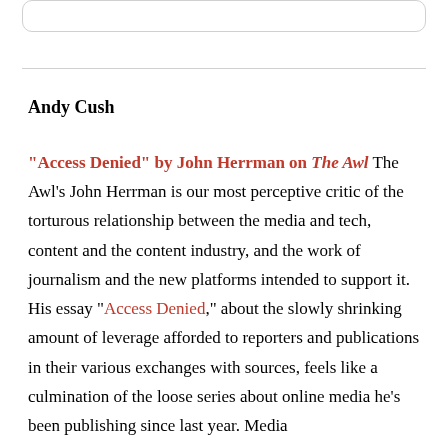Andy Cush
“Access Denied” by John Herrman on The Awl The Awl’s John Herrman is our most perceptive critic of the torturous relationship between the media and tech, content and the content industry, and the work of journalism and the new platforms intended to support it. His essay “Access Denied,” about the slowly shrinking amount of leverage afforded to reporters and publications in their various exchanges with sources, feels like a culmination of the loose series about online media he’s been publishing since last year. Media